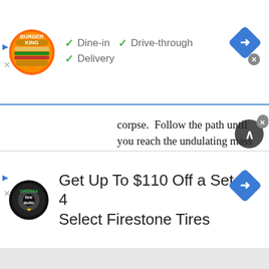[Figure (screenshot): Burger King ad banner with logo, checkmarks for Dine-in, Drive-through, Delivery, and a blue navigation diamond icon]
corpse.  Follow the path until you reach the undulating mass pictured below and then hang a left.

Take your first right, and at about this time your helmet will cut out.  You'll find some flares in a minute, so do your best to navigate until then.  Keep going straight until you see that you can take a left.  Go down this path until you encounter another corpse that has
[Figure (screenshot): Firestone tires ad banner: Get Up To $110 Off a Set of 4 Select Firestone Tires, with Tire Auto logo and blue navigation diamond icon]